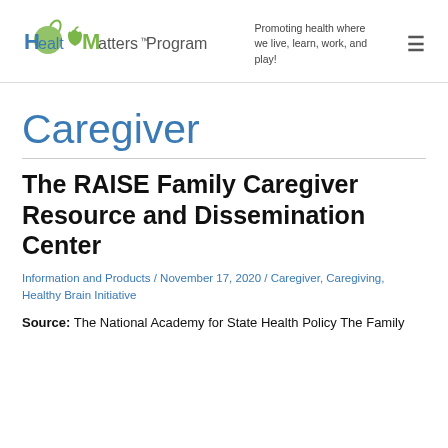HealthMatters™ Program — Promoting health where we live, learn, work, and play!
Caregiver
The RAISE Family Caregiver Resource and Dissemination Center
Information and Products / November 17, 2020 / Caregiver, Caregiving, Healthy Brain Initiative
Source: The National Academy for State Health Policy The Family